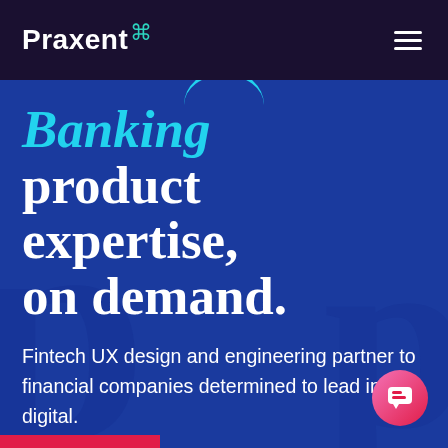Praxent
Banking product expertise, on demand.
Fintech UX design and engineering partner to financial companies determined to lead in digital.